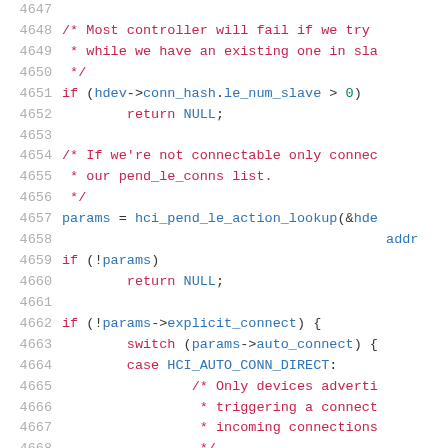[Figure (screenshot): Source code snippet showing lines 4647-4668 of a C file with syntax highlighting. Line numbers in gray on the left, comments in red, keywords in red, identifiers in blue, numbers in green.]